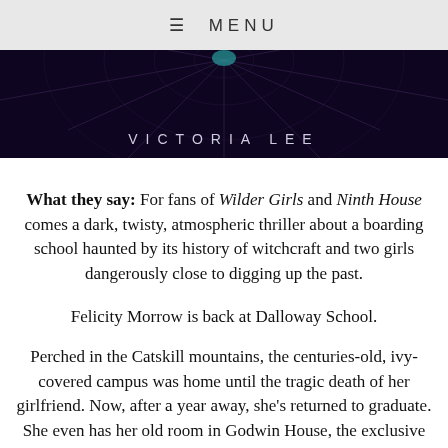≡ MENU
[Figure (illustration): Dark book cover banner with spider web design and author name VICTORIA LEE in spaced white letters on dark purple/black background]
What they say: For fans of Wilder Girls and Ninth House comes a dark, twisty, atmospheric thriller about a boarding school haunted by its history of witchcraft and two girls dangerously close to digging up the past.
Felicity Morrow is back at Dalloway School.
Perched in the Catskill mountains, the centuries-old, ivy-covered campus was home until the tragic death of her girlfriend. Now, after a year away, she's returned to graduate. She even has her old room in Godwin House, the exclusive dormitory rumored to be haunted by the spirits of five Dalloway students—girls some say were witches. The Dalloway Five all died mysteriously, one after another, right